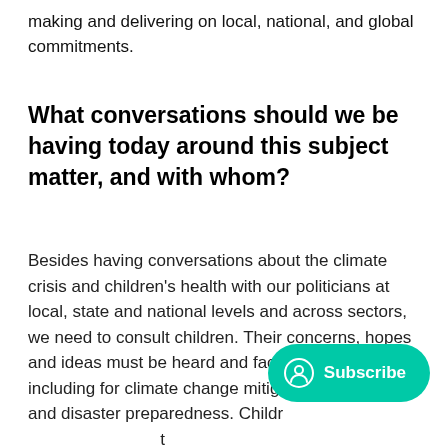making and delivering on local, national, and global commitments.
What conversations should we be having today around this subject matter, and with whom?
Besides having conversations about the climate crisis and children's health with our politicians at local, state and national levels and across sectors, we need to consult children. Their concerns, hopes and ideas must be heard and factored into policies, including for climate change mitigation, adaptation and disaster preparedness. Children's rights are not the same as those of adults and we must advocate for them better.